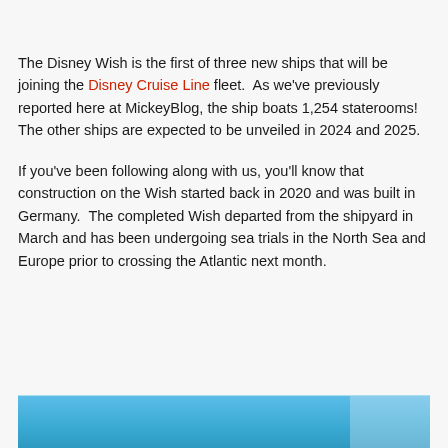The Disney Wish is the first of three new ships that will be joining the Disney Cruise Line fleet.  As we've previously reported here at MickeyBlog, the ship boats 1,254 staterooms!  The other ships are expected to be unveiled in 2024 and 2025.
If you've been following along with us, you'll know that construction on the Wish started back in 2020 and was built in Germany.  The completed Wish departed from the shipyard in March and has been undergoing sea trials in the North Sea and Europe prior to crossing the Atlantic next month.
[Figure (photo): Partial view of a ship or ocean scene with blue sky and water, cropped at the bottom of the page.]